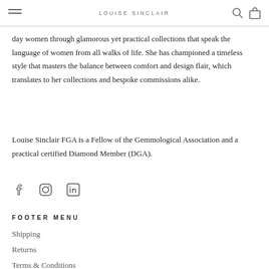LOUISE SINCLAIR
day women through glamorous yet practical collections that speak the language of women from all walks of life. She has championed a timeless style that masters the balance between comfort and design flair, which translates to her collections and bespoke commissions alike.
Louise Sinclair FGA is a Fellow of the Gemmological Association and a practical certified Diamond Member (DGA).
[Figure (other): Social media icons: Facebook, Instagram, LinkedIn]
FOOTER MENU
Shipping
Returns
Terms & Conditions